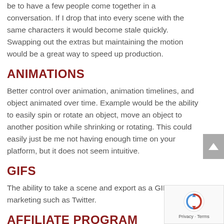be to have a few people come together in a conversation. If I drop that into every scene with the same characters it would become stale quickly. Swapping out the extras but maintaining the motion would be a great way to speed up production.
ANIMATIONS
Better control over animation, animation timelines, and object animated over time. Example would be the ability to easily spin or rotate an object, move an object to another position while shrinking or rotating. This could easily just be me not having enough time on your platform, but it does not seem intuitive.
GIFS
The ability to take a scene and export as a GIF for marketing such as Twitter.
AFFILIATE PROGRAM